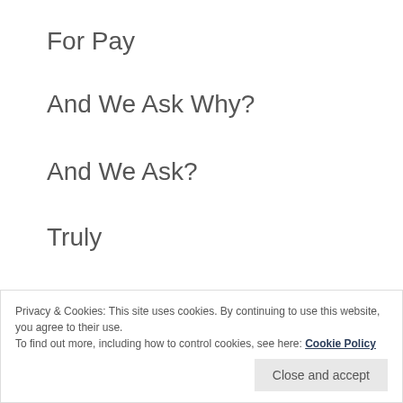For Pay
And We Ask Why?
And We Ask?
Truly
The
Answer
Privacy & Cookies: This site uses cookies. By continuing to use this website, you agree to their use.
To find out more, including how to control cookies, see here: Cookie Policy